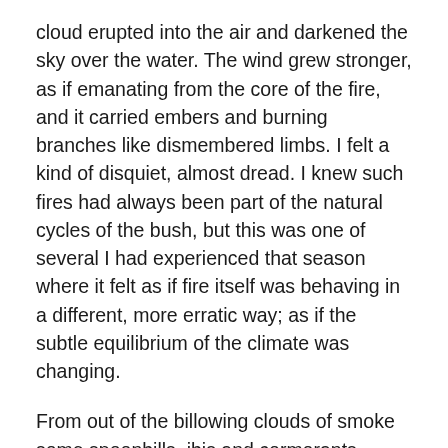cloud erupted into the air and darkened the sky over the water. The wind grew stronger, as if emanating from the core of the fire, and it carried embers and burning branches like dismembered limbs. I felt a kind of disquiet, almost dread. I knew such fires had always been part of the natural cycles of the bush, but this was one of several I had experienced that season where it felt as if fire itself was behaving in a different, more erratic way; as if the subtle equilibrium of the climate was changing.
From out of the billowing clouds of smoke some spoonbills, ibis and cormorants emerged, and flew far out over the lake. Several of them alighted on a patch of sunlit water and remained there, as if illustrating some cycle of eternal return – from action to stillness, from noise to quiet. But as I watched, the great black cloud drifted over the direction when as if the was changing.